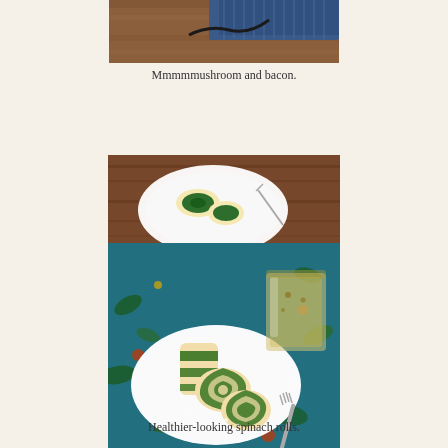[Figure (photo): Partial photo of mushroom and bacon dish on a wooden table with blue cloth, cropped at top]
Mmmmmushroom and bacon.
[Figure (photo): Photo of spinach rolls on white plates on a floral blue tablecloth, with a glass of tea and a fork, overhead angle]
Healthier-looking spinach rolls.